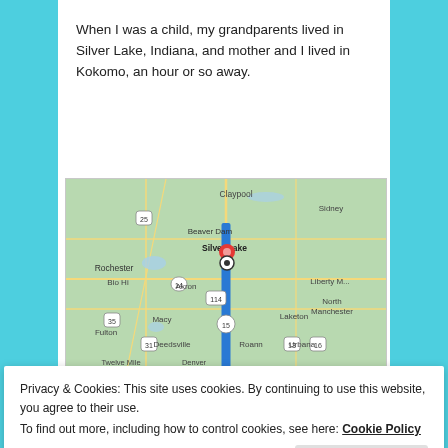When I was a child, my grandparents lived in Silver Lake, Indiana, and mother and I lived in Kokomo, an hour or so away.
[Figure (map): Google Maps screenshot showing a route from Kokomo to Silver Lake, Indiana. A blue vertical route line runs along US-15 between the two cities. Silver Lake is marked with a red map pin and a target icon. Surrounding towns include Claypool, Sidney, Rochester, Beaver Dam, Akron, North Manchester, Laketon, Fulton, Macy, Deedsville, Roann, Urbana, Denver, Twelve Mile. Road shields show routes 25, 14, 114, 15, 31, 13, 16, 35.]
Privacy & Cookies: This site uses cookies. By continuing to use this website, you agree to their use.
To find out more, including how to control cookies, see here: Cookie Policy